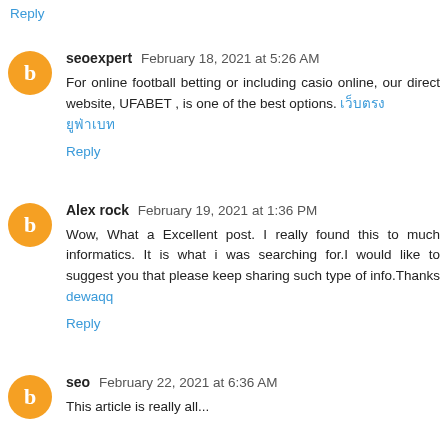Reply
seoexpert February 18, 2021 at 5:26 AM
For online football betting or including casio online, our direct website, UFABET , is one of the best options. [Thai link text]
Reply
Alex rock February 19, 2021 at 1:36 PM
Wow, What a Excellent post. I really found this to much informatics. It is what i was searching for.I would like to suggest you that please keep sharing such type of info.Thanks dewaqq
Reply
seo February 22, 2021 at 6:36 AM
This article is really all...